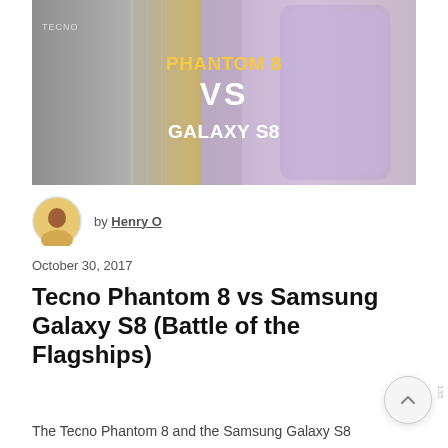[Figure (photo): Hero comparison image showing Tecno Phantom 8 vs Samsung Galaxy S8 smartphones side by side with bold yellow and white text overlay reading 'PHANTOM 8 VS GALAXY S8']
by Henry O
October 30, 2017
Tecno Phantom 8 vs Samsung Galaxy S8 (Battle of the Flagships)
The Tecno Phantom 8 and the Samsung Galaxy S8